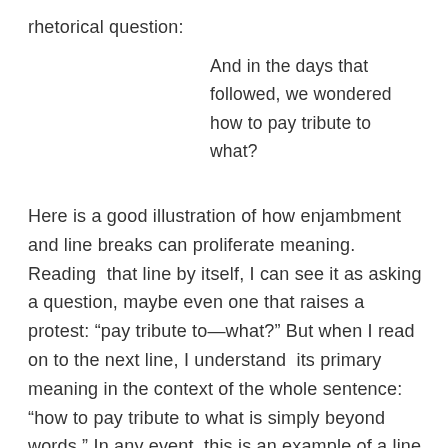rhetorical question:
And in the days that followed, we wondered how to pay tribute to what?
Here is a good illustration of how enjambment and line breaks can proliferate meaning. Reading that line by itself, I can see it as asking a question, maybe even one that raises a protest: “pay tribute to—what?” But when I read on to the next line, I understand its primary meaning in the context of the whole sentence: “how to pay tribute to what is simply beyond words.” In any event, this is an example of a line further along the enjambment continuum,